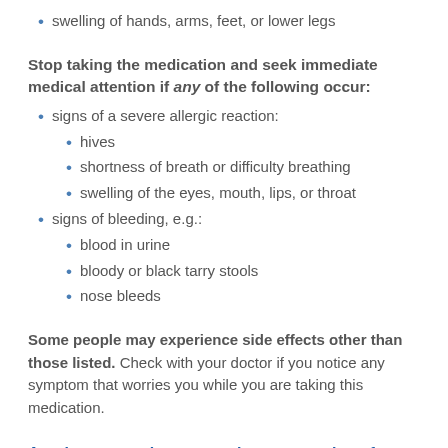swelling of hands, arms, feet, or lower legs
Stop taking the medication and seek immediate medical attention if any of the following occur:
signs of a severe allergic reaction:
hives
shortness of breath or difficulty breathing
swelling of the eyes, mouth, lips, or throat
signs of bleeding, e.g.:
blood in urine
bloody or black tarry stools
nose bleeds
Some people may experience side effects other than those listed. Check with your doctor if you notice any symptom that worries you while you are taking this medication.
Are there any other precautions or warnings for this medication?